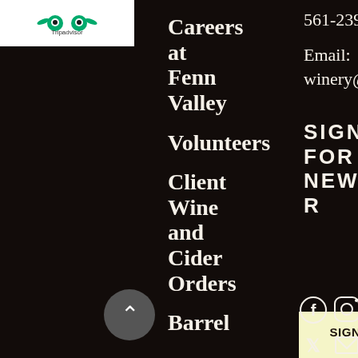[Figure (logo): Tripadvisor logo with owl icon and 'Tripadvisor' text on white background]
Careers at Fenn Valley
Volunteers
Client Wine and Cider Orders
Barrel
561-2396
Email:
winery@fennvall
SIGN UP FOR OUR NEWSLETTER
SIGN UP FOR OUR NEWSLETTER!
[Figure (infographic): Social media icons: Facebook, Instagram, Twitter, Email]